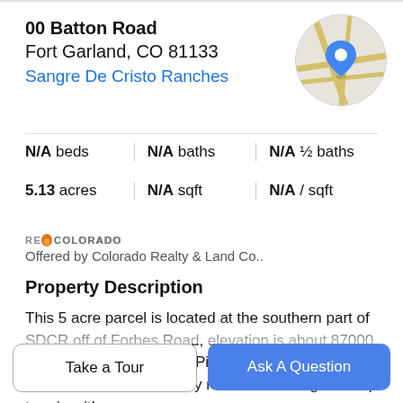00 Batton Road
Fort Garland, CO 81133
Sangre De Cristo Ranches
[Figure (map): Circular map thumbnail with road lines and a blue location pin marker]
N/A beds | N/A baths | N/A ½ baths
5.13 acres | N/A sqft | N/A / sqft
[Figure (logo): RE/Colorado logo with orange flame icon]
Offered by Colorado Realty & Land Co..
Property Description
This 5 acre parcel is located at the southern part of SDCR off of Forbes Road, elevation is about 87000 ft. Nice Mixture of Pinion Pine, Spruce, Ponderosa and Aspen trees. Property runs from selling to steep terrain with...